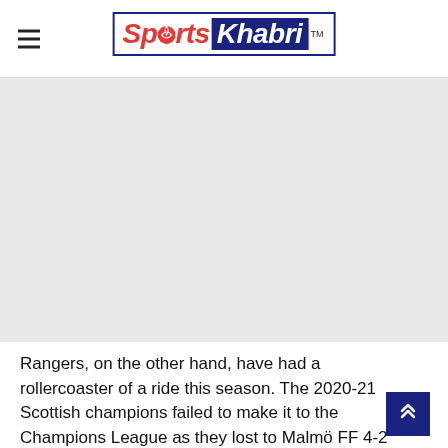Sports Khabri
[Figure (other): Large grey advertisement/image placeholder area]
Rangers, on the other hand, have had a rollercoaster of a ride this season. The 2020-21 Scottish champions failed to make it to the Champions League as they lost to Malmö FF 4-2 on aggregate in the qualifying rounds, ending up in the UEL